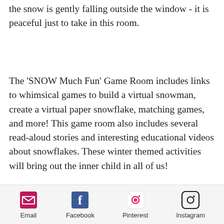the snow is gently falling outside the window - it is peaceful just to take in this room.
The 'SNOW Much Fun' Game Room includes links to whimsical games to build a virtual snowman, create a virtual paper snowflake, matching games, and more! This game room also includes several read-aloud stories and interesting educational videos about snowflakes. These winter themed activities will bring out the inner child in all of us!
When you make a copy of this room that I created, you can add your own
Email  Facebook  Pinterest  Instagram